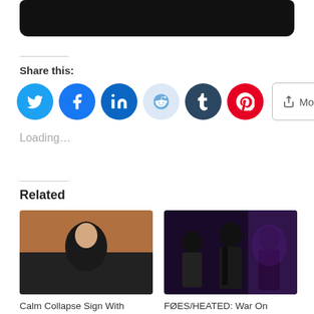[Figure (photo): Top partial image, black background, cropped]
Share this:
[Figure (infographic): Row of social share buttons: Twitter, Facebook, LinkedIn, Reddit, Tumblr, Pinterest, and a More button]
Loading...
Related
[Figure (photo): Photo of a person with long hair against a brownish-orange background — Calm Collapse]
Calm Collapse Sign With Spartan Records
[Figure (photo): Photo of a band with dark purple background — FØES/HEATED]
FØES/HEATED: War On Everything Split 7" EP To See